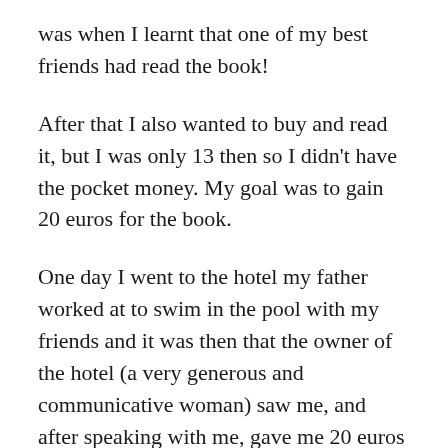was when I learnt that one of my best friends had read the book!
After that I also wanted to buy and read it, but I was only 13 then so I didn't have the pocket money. My goal was to gain 20 euros for the book.
One day I went to the hotel my father worked at to swim in the pool with my friends and it was then that the owner of the hotel (a very generous and communicative woman) saw me, and after speaking with me, gave me 20 euros to buy something for my birthday!!!
I was so pleased, and realised that it was